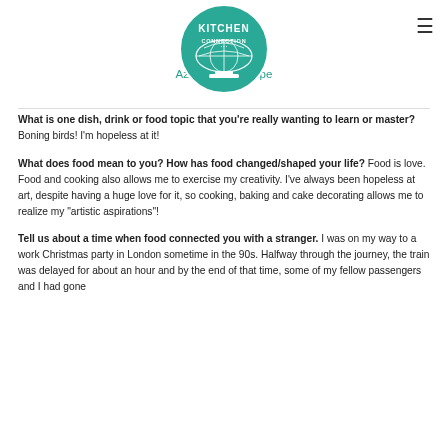[Figure (logo): Kitchen Connection circular logo in teal/green with globe and text]
Azlin's ... s Recipe
What is one dish, drink or food topic that you're really wanting to learn or master? Boning birds! I'm hopeless at it!
What does food mean to you? How has food changed/shaped your life? Food is love. Food and cooking also allows me to exercise my creativity. I've always been hopeless at art, despite having a huge love for it, so cooking, baking and cake decorating allows me to realize my "artistic aspirations"!
Tell us about a time when food connected you with a stranger. I was on my way to a work Christmas party in London sometime in the 90s. Halfway through the journey, the train was delayed for about an hour and by the end of that time, some of my fellow passengers and I had gone